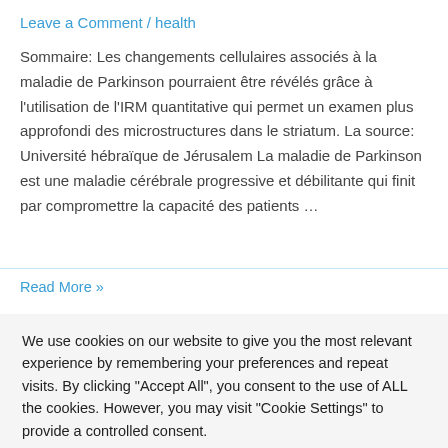Leave a Comment / health
Sommaire: Les changements cellulaires associés à la maladie de Parkinson pourraient être révélés grâce à l'utilisation de l'IRM quantitative qui permet un examen plus approfondi des microstructures dans le striatum. La source: Université hébraïque de Jérusalem La maladie de Parkinson est une maladie cérébrale progressive et débilitante qui finit par compromettre la capacité des patients …
Read More »
We use cookies on our website to give you the most relevant experience by remembering your preferences and repeat visits. By clicking "Accept All", you consent to the use of ALL the cookies. However, you may visit "Cookie Settings" to provide a controlled consent.